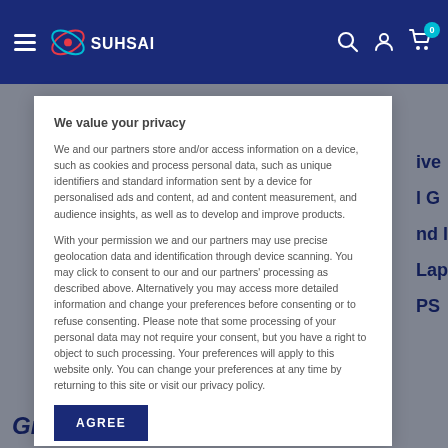[Figure (logo): SUHSAI logo with orbital graphic in navy blue header bar with hamburger menu, search, account, and cart icons]
We value your privacy
We and our partners store and/or access information on a device, such as cookies and process personal data, such as unique identifiers and standard information sent by a device for personalised ads and content, ad and content measurement, and audience insights, as well as to develop and improve products.
With your permission we and our partners may use precise geolocation data and identification through device scanning. You may click to consent to our and our partners' processing as described above. Alternatively you may access more detailed information and change your preferences before consenting or to refuse consenting. Please note that some processing of your personal data may not require your consent, but you have a right to object to such processing. Your preferences will apply to this website only. You can change your preferences at any time by returning to this site or visit our privacy policy.
AGREE